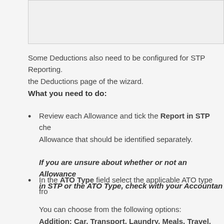[Figure (screenshot): Screenshot of a UI panel or form element, partially visible at the top of the page]
Some Deductions also need to be configured for STP Reporting. the Deductions page of the wizard.
What you need to do:
Review each Allowance and tick the Report in STP che Allowance that should be identified separately. If you are unsure about whether or not an Allowance in STP or the ATO Type, check with your Accountan
In the ATO Type field select the applicable ATO type fro You can choose from the following options: Addition; Car, Transport, Laundry, Meals, Travel, Oth